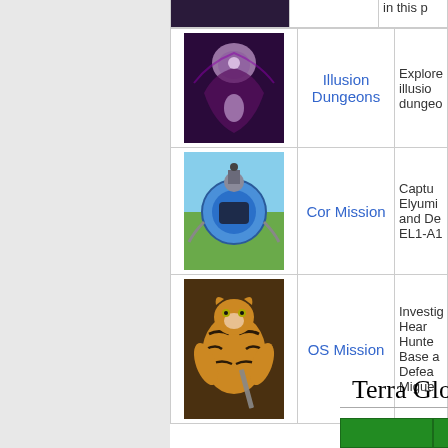| Image | Name | Description |
| --- | --- | --- |
| [image] | Illusion Dungeons | Explore illusion dungeo... |
| [image] | Cor Mission | Captu... Elyumi... and De... EL1-A1... |
| [image] | OS Mission | Investig... Hear... Hunte... Base a... Defea... Migue... |
Terra Gloria
|  |  |  |
| --- | --- | --- |